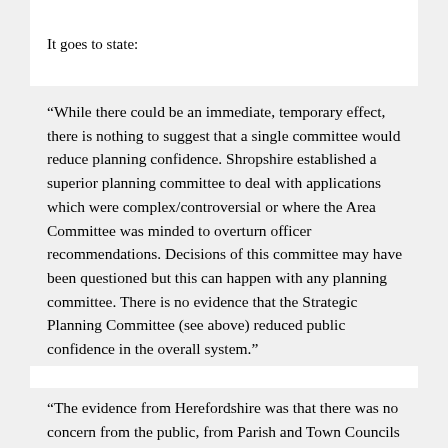It goes to state:
“While there could be an immediate, temporary effect, there is nothing to suggest that a single committee would reduce planning confidence. Shropshire established a superior planning committee to deal with applications which were complex/controversial or where the Area Committee was minded to overturn officer recommendations. Decisions of this committee may have been questioned but this can happen with any planning committee. There is no evidence that the Strategic Planning Committee (see above) reduced public confidence in the overall system.”
“The evidence from Herefordshire was that there was no concern from the public, from Parish and Town Councils or from Members, and no pressure from